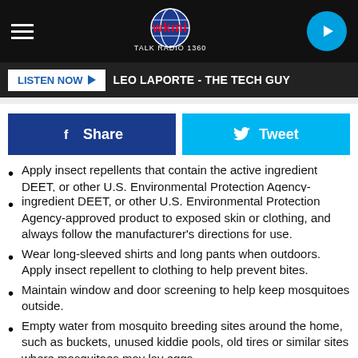[Figure (logo): WKMI Talk Radio 1360 logo with hamburger menu icon on left and play button on right, on black navigation bar]
LISTEN NOW ▶  LEO LAPORTE - THE TECH GUY
[Figure (infographic): Share button (dark blue with Facebook f icon) and Tweet button (cyan with Twitter bird icon)]
Apply insect repellents that contain the active ingredient DEET, or other U.S. Environmental Protection Agency-approved product to exposed skin or clothing, and always follow the manufacturer's directions for use.
Wear long-sleeved shirts and long pants when outdoors. Apply insect repellent to clothing to help prevent bites.
Maintain window and door screening to help keep mosquitoes outside.
Empty water from mosquito breeding sites around the home, such as buckets, unused kiddie pools, old tires or similar sites where mosquitoes may lay eggs.
Use nets and/or fans over outdoor eating areas